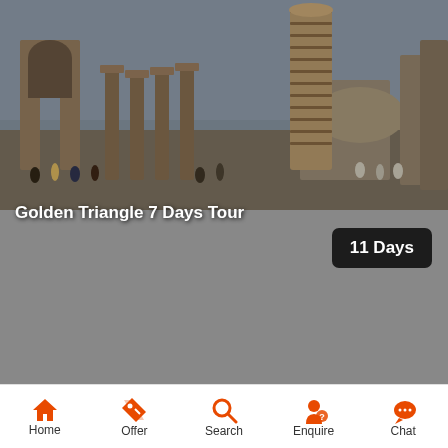[Figure (photo): Photo of Qutub Minar complex with ancient stone arch structures, tall striped minaret, and dome in background with tourists visible]
Golden Triangle 7 Days Tour
11 Days
Home  Offer  Search  Enquire  Chat